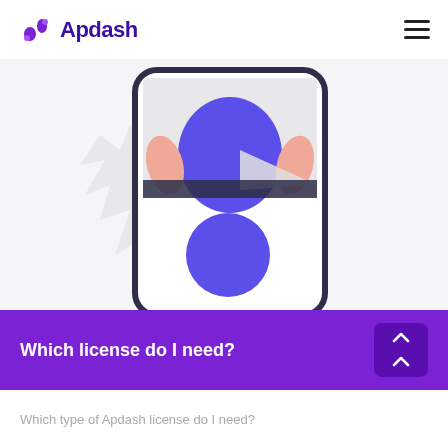Apdash
[Figure (illustration): Mobile phone illustration with a person figure in blue shirt on upper half and a purple circle on lower half, with a light gray maple leaf watermark behind the phone]
Which license do I need?
Which type of Apdash license do I need?